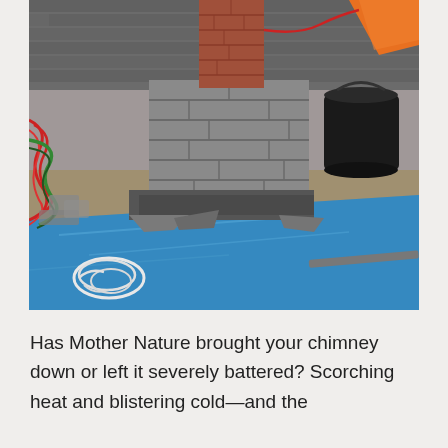[Figure (photo): Construction site showing a brick/cinder block chimney structure being repaired or rebuilt on a roof. A blue tarp covers the lower portion of the work area. Red and green cables/wires are visible on the left side. An orange chute or slide is visible in the upper right. A black bucket sits to the right of the chimney. White rope is coiled on the blue tarp in the lower left. The roof has dark shingles visible in the upper background.]
Has Mother Nature brought your chimney down or left it severely battered? Scorching heat and blistering cold—and the